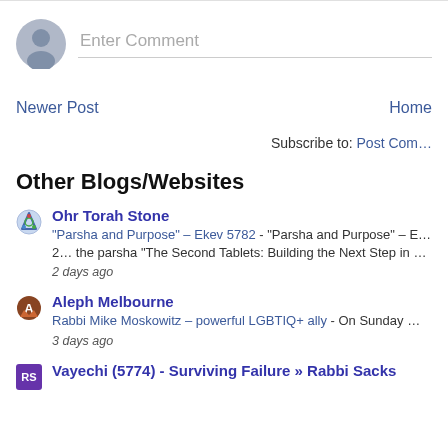[Figure (illustration): Comment input area with avatar icon and 'Enter Comment' placeholder text]
Newer Post    Home
Subscribe to: Post Comments
Other Blogs/Websites
Ohr Torah Stone - "Parsha and Purpose" – Ekev 5782 - "Parsha and Purpose" – Ekev 5782... the parsha "The Second Tablets: Building the Next Step in our Relations... 2 days ago
Aleph Melbourne - Rabbi Mike Moskowitz – powerful LGBTIQ+ ally - On Sunday @mike_ra... discuss his activism and advocacy for LGBTIQ+ people. It was invigorat... 3 days ago
Vayechi (5774) - Surviving Failure » Rabbi Sacks